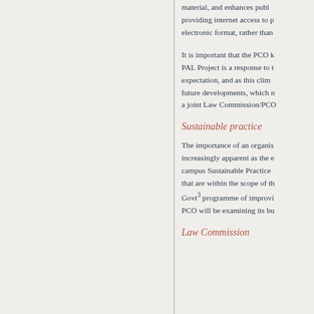material, and enhances public providing internet access to p electronic format, rather than
It is important that the PCO k PAL Project is a response to t expectation, and as this clima future developments, which n a joint Law Commission/PCO
Sustainable practice
The importance of an organis increasingly apparent as the e campus Sustainable Practice that are within the scope of th Govt³ programme of improvi PCO will be examining its bu
Law Commission